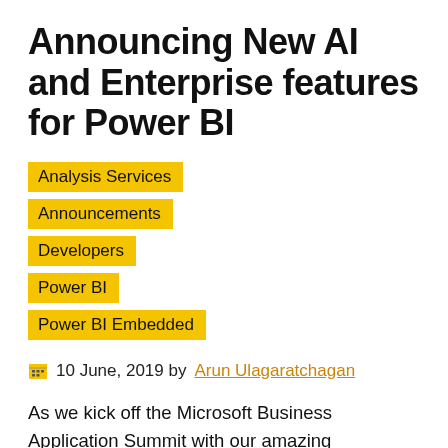Announcing New AI and Enterprise features for Power BI
Analysis Services
Announcements
Developers
Power BI
Power BI Embedded
10 June, 2019 by Arun Ulagaratchagan
As we kick off the Microsoft Business Application Summit with our amazing community at Atlanta, I wanted to share some exciting Power BI news as part of the event, including